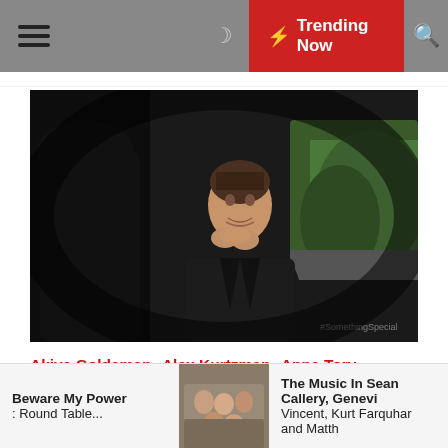☰  ☽  ⚡ Trending Now  🔍
[Figure (screenshot): A woman in a black jacket with hands clasped near her face, sitting in or near a vehicle, with greenery visible in background. Dark moody scene from TV show Fringe.]
Akiva Goldsman   Alex Kurtzman   Anna Torv
Ari Margolis   Blair Brown   Chris Tilton   David Fury
Fox Broadcasting   Fringe
Fringe S5x04 The Bullet That Saved the World
Georgina Haig   J.J. Abrams   Jasika Nicole
Joel Wyman   John Noble   Joshua Jackson
Lance Reddick   Michael Cerveris   Michael Konca
Beware My Power : Round Table...   [thumbnail]   The Music In Sean Callery, Genevieve Vincent, Kurt Farquhar and Matth